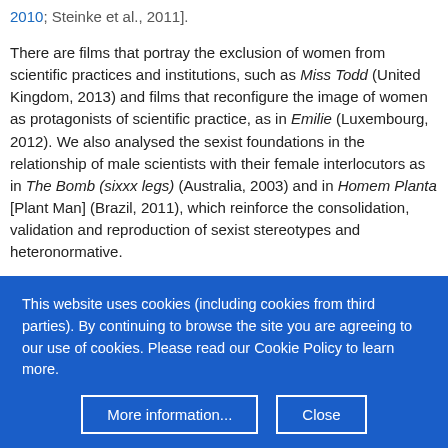2010; Steinke et al., 2011].
There are films that portray the exclusion of women from scientific practices and institutions, such as Miss Todd (United Kingdom, 2013) and films that reconfigure the image of women as protagonists of scientific practice, as in Emilie (Luxembourg, 2012). We also analysed the sexist foundations in the relationship of male scientists with their female interlocutors as in The Bomb (sixxx legs) (Australia, 2003) and in Homem Planta [Plant Man] (Brazil, 2011), which reinforce the consolidation, validation and reproduction of sexist stereotypes and heteronormative.
We highlighted the potential of this list of films as aesthetic and political experience in educational spaces, both in
This website uses cookies (including cookies from third parties). By continuing to browse the site you are agreeing to our use of cookies. Please read our Cookie Policy to learn more.
More information...
Close